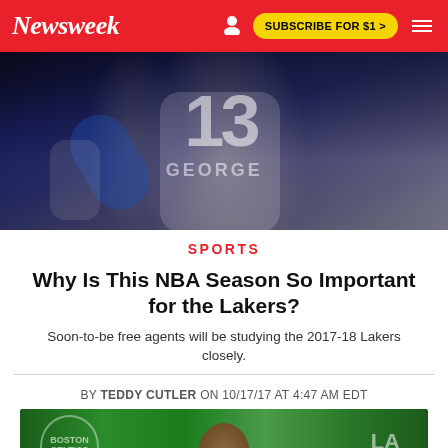Newsweek | SUBSCRIBE FOR $1 >
[Figure (photo): Basketball players hugging on court, one wearing jersey number 13 with name GEORGE]
SPORTS
Why Is This NBA Season So Important for the Lakers?
Soon-to-be free agents will be studying the 2017-18 Lakers closely.
BY TEDDY CUTLER ON 10/17/17 AT 4:47 AM EDT
[Figure (photo): Basketball player at press conference with Celtics logo visible in background]